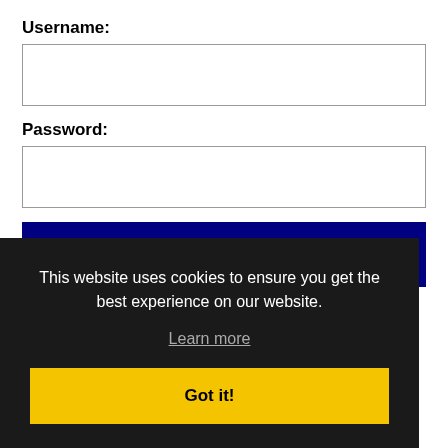Username:
Password:
Log In
Forgot password?
This website uses cookies to ensure you get the best experience on our website.
Learn more
Got it!
et the latest Pennsylvania jobs by following netPA
on Twitter!
Allentown RSS job feeds